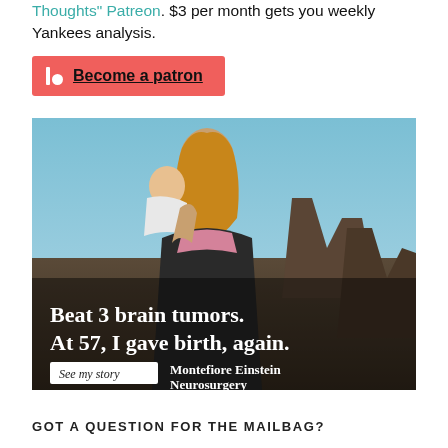Thoughts" Patreon. $3 per month gets you weekly Yankees analysis.
[Figure (other): Patreon 'Become a patron' button with red/salmon background, Patreon logo icon (vertical bar and circle) on left, bold underlined text 'Become a patron' in dark color.]
[Figure (photo): Advertisement photo: A middle-aged woman with long blonde hair stands outdoors in a rocky landscape (Grand Canyon-like setting) holding a baby on her shoulder. Text overlay reads: 'Beat 3 brain tumors. At 57, I gave birth, again.' with a 'See my story' button and 'Montefiore Einstein Neurosurgery' branding.]
GOT A QUESTION FOR THE MAILBAG?